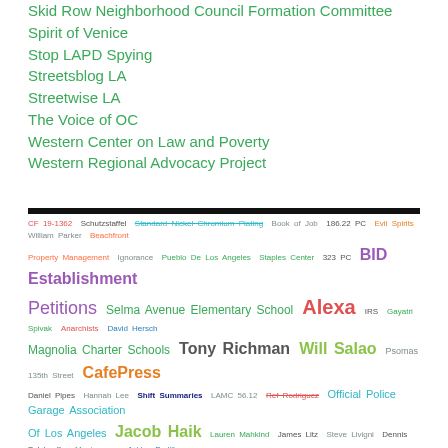Skid Row Neighborhood Council Formation Committee
Spirit of Venice
Stop LAPD Spying
Streetsblog LA
Streetwise LA
The Voice of OC
Western Center on Law and Poverty
Western Regional Advocacy Project
[Figure (infographic): Word cloud containing various terms related to Los Angeles government, organizations, and people in varied colors and font sizes, including: CF 19-1362, Schutzstaffel, Standard Nickel Chromium Plating, Book of Job, 186.22 PC, Evil Spirits, William Parker, Beachfront Property Management, Ignorance, Pueblo De Los Angeles, Staples Center, 323 PC, BID Establishment, Petitions, Selma Avenue Elementary School, Alexa, IRS, Gayatri Spivak, Anarchists, David Hersch, Magnolia Charter Schools, Tony Richman, Will Salao, Psomas, 135th Street, CafePress, Daniel Pipes, Hannah Lee, Shift Summaries, LAMC 56.12, Ref Rodriguez, Official Police Garage Association Of Los Angeles, Jacob Haik, Lauren Mahkind, James Litz, Steve Livigni, Dennis Pelch, Ben Montemayor, Ackley Padilla, Leonardo Magana, Jack in the Box, Urban Forestry, Latham & Watkins, Project TOUGH, Kinross Avenue, Free Venice Beachhead, CommandLine, Red Piper, Pacific Palisades Design Review Board, Bob Hope, Barack Obama, Noticeme Press, Trust But Verify, Aaron Green, The Weasel, Daniel S Murphy, Gary Davis, Chico's, Strefan Fauble, Cory, Spencer v. Lunada Bay Boys, Lewis Powell, Unicursal, Hostile Landscaping]